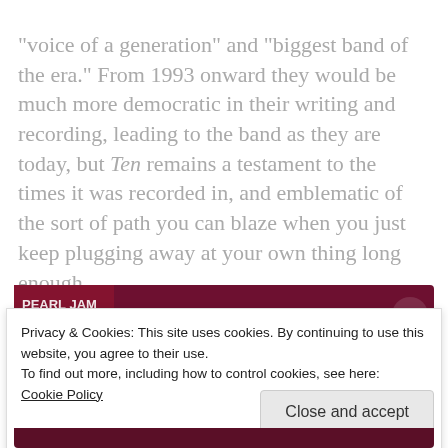"voice of a generation" and "biggest band of the era." From 1993 onward they would be much more democratic in their writing and recording, leading to the band as they are today, but Ten remains a testament to the times it was recorded in, and emblematic of the sort of path you can blaze when you just keep plugging away at your own thing long enough.
[Figure (screenshot): Spotify embedded player widget for the album 'Ten' by Pearl Jam. Dark red/maroon background with album art, play button, track title 'Ten', artist name 'Pearl Jam', Spotify logo, and playback controls with progress bar.]
Privacy & Cookies: This site uses cookies. By continuing to use this website, you agree to their use.
To find out more, including how to control cookies, see here: Cookie Policy
Close and accept